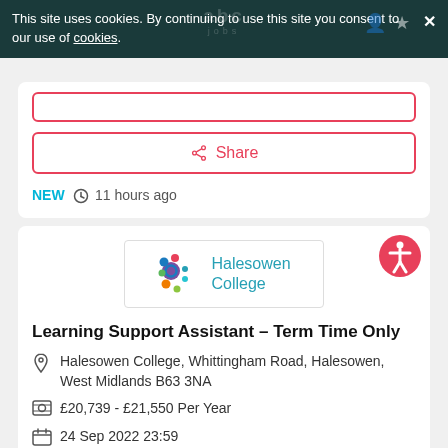This site uses cookies. By continuing to use this site you consent to our use of cookies.
[Figure (logo): Halesowen College logo with colourful circles and teal text]
Learning Support Assistant - Term Time Only
Halesowen College, Whittingham Road, Halesowen, West Midlands B63 3NA
£20,739 - £21,550 Per Year
24 Sep 2022 23:59
NEW  11 hours ago